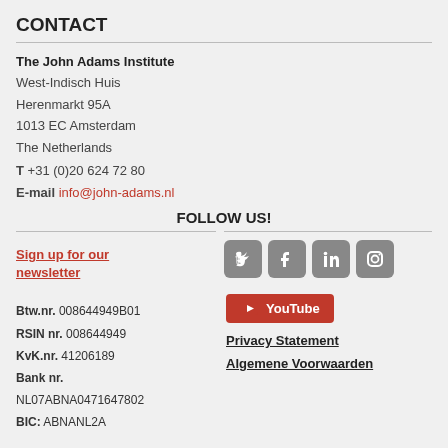CONTACT
The John Adams Institute
West-Indisch Huis
Herenmarkt 95A
1013 EC Amsterdam
The Netherlands
T +31 (0)20 624 72 80
E-mail info@john-adams.nl
FOLLOW US!
Sign up for our newsletter
[Figure (other): Social media icons: Twitter, Facebook, LinkedIn, Instagram]
Btw.nr. 008644949B01
RSIN nr. 008644949
KvK.nr. 41206189
Bank nr.
NL07ABNA0471647802
BIC: ABNANL2A
[Figure (logo): YouTube button (red)]
Privacy Statement
Algemene Voorwaarden